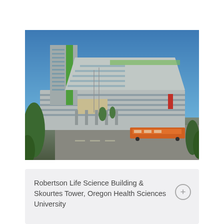[Figure (photo): Exterior photograph of Robertson Life Science Building and Skourtes Tower at Oregon Health Sciences University. Modern multi-story buildings with glass and concrete facade, green accent panels on tower. An orange light rail tram passes in the foreground on street level. Clear blue sky, trees and urban surroundings visible.]
Robertson Life Science Building & Skourtes Tower, Oregon Health Sciences University